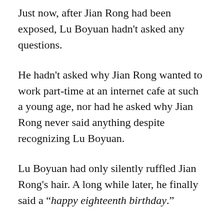Just now, after Jian Rong had been exposed, Lu Boyuan hadn't asked any questions.
He hadn't asked why Jian Rong wanted to work part-time at an internet cafe at such a young age, nor had he asked why Jian Rong never said anything despite recognizing Lu Boyuan.
Lu Boyuan had only silently ruffled Jian Rong's hair. A long while later, he finally said a “happy eighteenth birthday.”
A few years had passed since that time, and Lu Boyuan was no longer the same cold-faced, taciturn youth from the internet cafe doorway back then. He still didn’t talk much, but his every